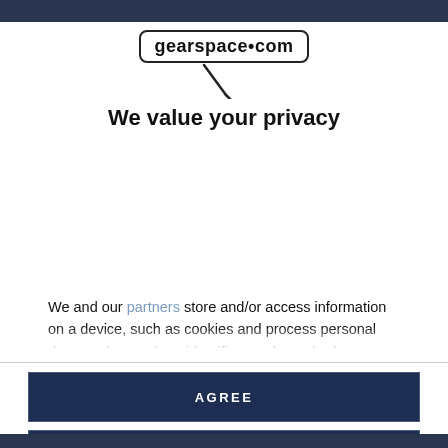gearspace.com
[Figure (logo): gearspace.com logo with rounded rectangle border and microphone icon below]
We value your privacy
We and our partners store and/or access information on a device, such as cookies and process personal data, such as unique identifiers and standard information sent by a device for personalised ads and content, ad and content measurement, and audience insights, as well as to develop and improve products. With your permission we and our partners may use precise geolocation data and identification through device scanning. You may click to consent to our and our partners' processing as described above. Alternatively you may access more detailed information and change your preferences before consenting.
AGREE
MORE OPTIONS